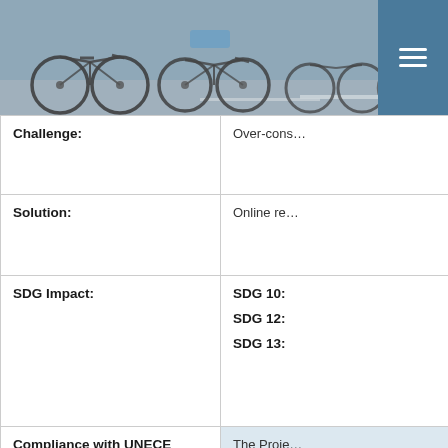[Figure (photo): Photo of bicycles parked in a row at a bike station, viewed from the wheel level showing multiple bicycle wheels and frames]
| Challenge: | Over-cons… |
| Solution: | Online re… |
| SDG Impact: | SDG 10:
SDG 12:
SDG 13: |
| Compliance with UNECE People-first PPP criteria: | The Proje…
• Pro…
• Inc…
• Ca… |